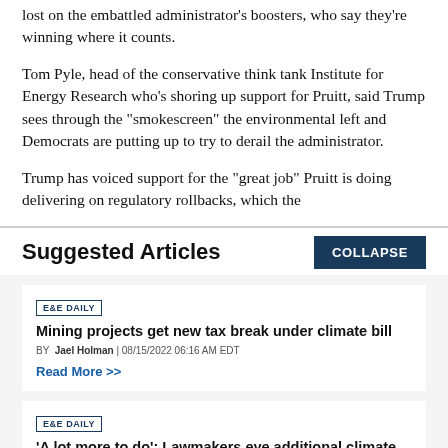lost on the embattled administrator's boosters, who say they're winning where it counts.
Tom Pyle, head of the conservative think tank Institute for Energy Research who's shoring up support for Pruitt, said Trump sees through the "smokescreen" the environmental left and Democrats are putting up to try to derail the administrator.
Trump has voiced support for the "great job" Pruitt is doing delivering on regulatory rollbacks, which the
Suggested Articles
COLLAPSE
E&E DAILY
Mining projects get new tax break under climate bill
BY Jael Holman | 08/15/2022 06:16 AM EDT
Read More >>
E&E DAILY
'A lot more to do': Lawmakers eye additional climate action